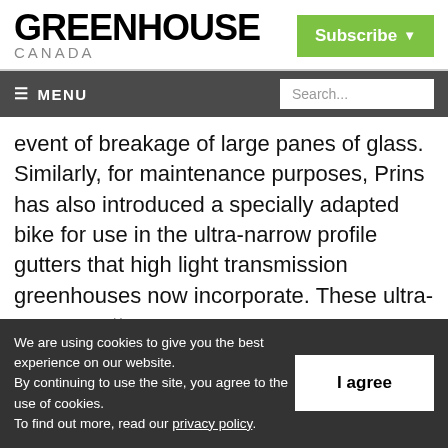GREENHOUSE CANADA
Subscribe
MENU | Search...
event of breakage of large panes of glass. Similarly, for maintenance purposes, Prins has also introduced a specially adapted bike for use in the ultra-narrow profile gutters that high light transmission greenhouses now incorporate. These ultra-narrow gutters came
We are using cookies to give you the best experience on our website. By continuing to use the site, you agree to the use of cookies. To find out more, read our privacy policy.